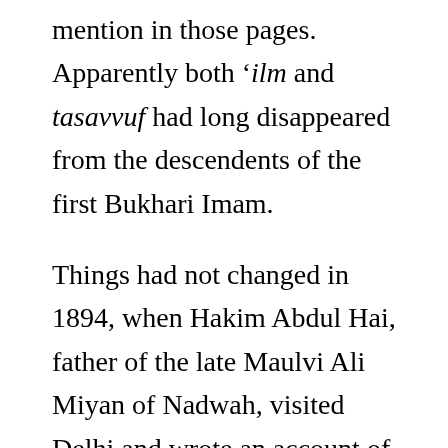mention in those pages. Apparently both 'ilm and tasavvuf had long disappeared from the descendents of the first Bukhari Imam.
Things had not changed in 1894, when Hakim Abdul Hai, father of the late Maulvi Ali Miyan of Nadwah, visited Delhi and wrote an account of his stay there. He visited the Jama Masjid, and prayed there at least twice, including a Friday prayer, but has nothing to say about the Imam. Apparently the person